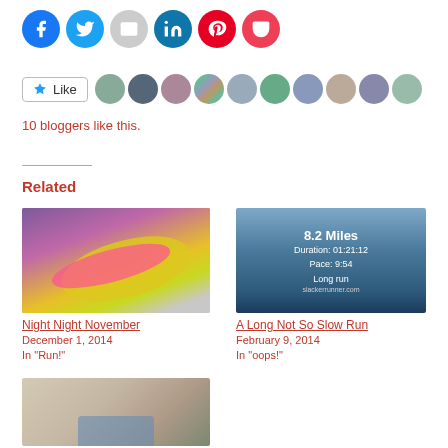[Figure (infographic): Social sharing icons: Facebook (blue circle), Twitter (cyan circle), Email (gray circle), LinkedIn (teal circle), Pinterest (red circle), Pocket (dark red circle)]
[Figure (infographic): Like button with star icon followed by 10 blogger avatar thumbnails]
10 bloggers like this.
Related
[Figure (photo): Photo of a running shoe (yellow/green with pink laces) on pavement, purple pants visible]
Night Night November
December 1, 2014
In "Run!"
[Figure (photo): Running stats image: 8.2 Miles, Duration: 01:21:12, Pace: 9:54, Long run, slackerrunner.com]
A Long Not So Slow Run
February 9, 2014
In "oops!"
[Figure (photo): Partial photo of trail or rocky terrain with running shoes visible at bottom]